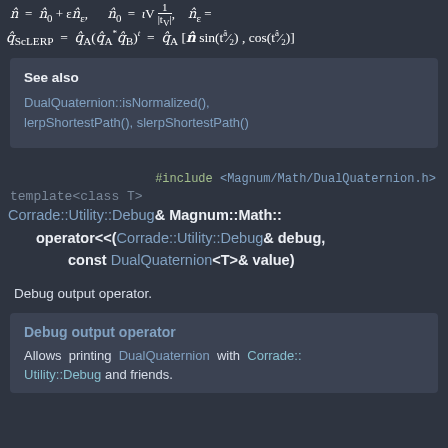See also
DualQuaternion::isNormalized(), lerpShortestPath(), slerpShortestPath()
#include <Magnum/Math/DualQuaternion.h>
template<class T>
Corrade::Utility::Debug& Magnum::Math:: operator<<(Corrade::Utility::Debug& debug, const DualQuaternion<T>& value)
Debug output operator.
Debug output operator
Allows printing DualQuaternion with Corrade::Utility::Debug and friends.